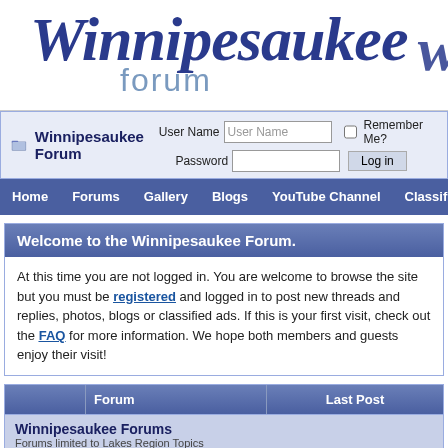[Figure (logo): Winnipesaukee forum logo with cursive blue text 'Winnipesaukee' and lighter 'forum' subtitle]
Winnipesaukee Forum  User Name [User Name]  [ ] Remember Me?  Password [        ]  [Log in]
Home  Forums  Gallery  Blogs  YouTube Channel  Classifieds  Calendar  Re
Welcome to the Winnipesaukee Forum.
At this time you are not logged in. You are welcome to browse the site but you must be registered and logged in to post new threads and replies, photos, blogs or classified ads. If this is your first visit, check out the FAQ for more information. We hope both members and guests enjoy their visit!
|  | Forum | Last Post |
| --- | --- | --- |
| Winnipesaukee Forums
Forums limited to Lakes Region Topics |  |  |
| [icon] | General Discussion (56 Viewing)
General questions and | Rattlesnake conservation... |